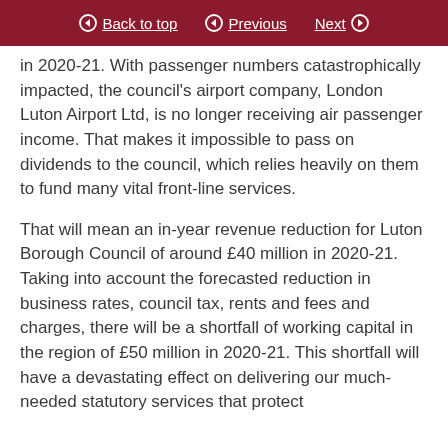Back to top | Previous | Next
in 2020-21. With passenger numbers catastrophically impacted, the council's airport company, London Luton Airport Ltd, is no longer receiving air passenger income. That makes it impossible to pass on dividends to the council, which relies heavily on them to fund many vital front-line services.
That will mean an in-year revenue reduction for Luton Borough Council of around £40 million in 2020-21. Taking into account the forecasted reduction in business rates, council tax, rents and fees and charges, there will be a shortfall of working capital in the region of £50 million in 2020-21. This shortfall will have a devastating effect on delivering our much-needed statutory services that protect